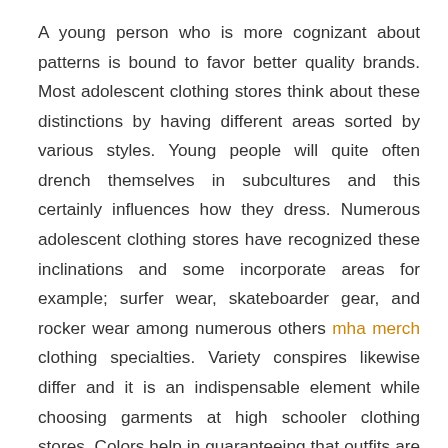A young person who is more cognizant about patterns is bound to favor better quality brands. Most adolescent clothing stores think about these distinctions by having different areas sorted by various styles. Young people will quite often drench themselves in subcultures and this certainly influences how they dress. Numerous adolescent clothing stores have recognized these inclinations and some incorporate areas for example; surfer wear, skateboarder gear, and rocker wear among numerous others mha merch clothing specialties. Variety conspires likewise differ and it is an indispensable element while choosing garments at high schooler clothing stores. Colors help in guaranteeing that outfits are finished. For example plain shaded tops can be matched with designed pants. Colors help either in killing outfits or giving them an edge. Colors additionally make an outfit champion from the rest. Additionally, very much like the size of garments, variety can assist with upgrading the wearers' body